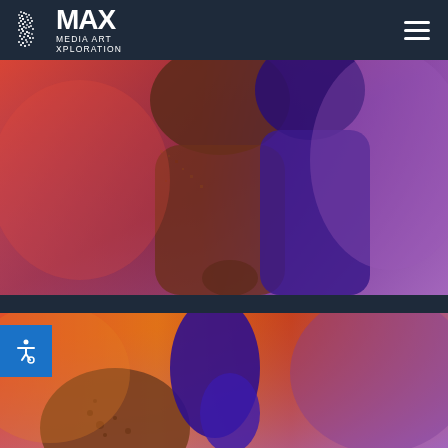MAX MEDIA ART XPLORATION
DOPPELGÄNGER
[Figure (photo): Hero banner image showing two human silhouettes split by color — red/brown on the left and purple/blue on the right, suggesting a doppelgänger or dual identity theme]
[Figure (photo): Second section image showing abstract colored shapes — orange background with blue and brown organic forms, bottom portion of another hero image]